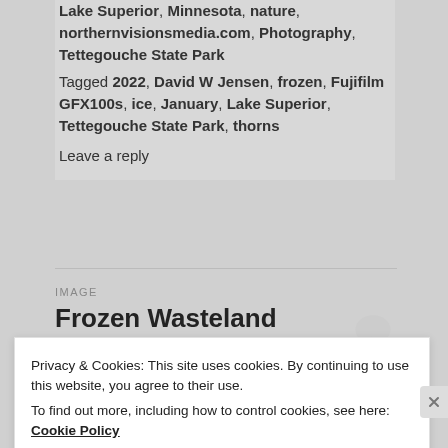Lake Superior, Minnesota, nature, northernvisionsmedia.com, Photography, Tettegouche State Park
Tagged 2022, David W Jensen, frozen, Fujifilm GFX100s, ice, January, Lake Superior, Tettegouche State Park, thorns
Leave a reply
IMAGE
Frozen Wasteland
[Figure (photo): Partial view of a winter landscape photo strip, blurred/cropped]
Privacy & Cookies: This site uses cookies. By continuing to use this website, you agree to their use.
To find out more, including how to control cookies, see here: Cookie Policy
Close and accept